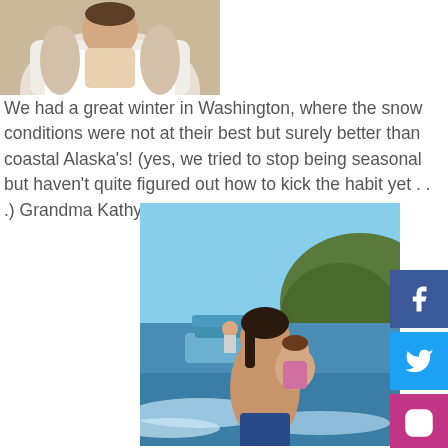[Figure (photo): Person holding a baby or young child, upper body visible, indoor setting]
We had a great winter in Washington, where the snow conditions were not at their best but surely better than coastal Alaska's!  (yes, we tried to stop being seasonal but haven't quite figured out how to kick the habit yet . . .)  Grandma Kathy "Rah Rah" enjoyed
[Figure (photo): Person standing on a beach holding a young child, a boat visible in the background on calm water with hills in the distance]
[Figure (infographic): Social media icons: Facebook, Twitter, Instagram]